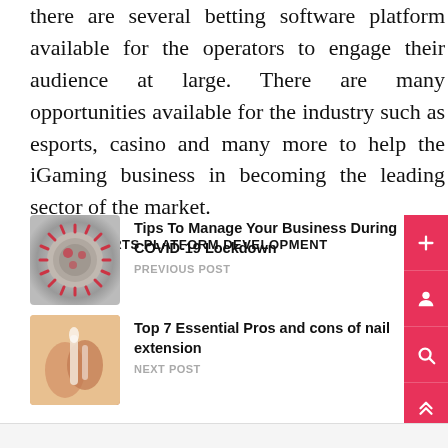there are several betting software platform available for the operators to engage their audience at large. There are many opportunities available for the industry such as esports, casino and many more to help the iGaming business in becoming the leading sector of the market.
TAGS: ESPORTS PLATFORM DEVELOPMENT
[Figure (photo): Thumbnail image of COVID-19 coronavirus particle, gray and red spiky sphere]
Tips To Manage Your Business During COVID-19 Lockdown
PREVIOUS POST
[Figure (photo): Thumbnail image of hands performing nail extension procedure]
Top 7 Essential Pros and cons of nail extension
NEXT POST